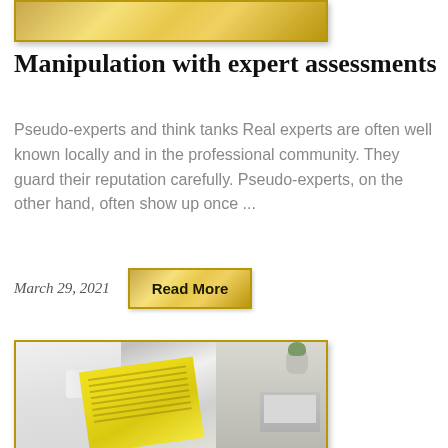[Figure (photo): Gold gradient banner/header image — partial top of a blog post card with a gold metallic bar]
Manipulation with expert assessments
Pseudo-experts and think tanks Real experts are often well known locally and in the professional community. They guard their reputation carefully. Pseudo-experts, on the other hand, often show up once ...
March 29, 2021
Read More
[Figure (photo): Photo of a person in a white shirt holding an open yellow book/document, with a plant and laptop visible in the background. Image has a gold border frame.]